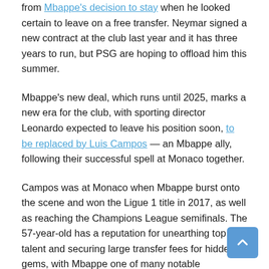from Mbappe's decision to stay when he looked certain to leave on a free transfer. Neymar signed a new contract at the club last year and it has three years to run, but PSG are hoping to offload him this summer.
Mbappe's new deal, which runs until 2025, marks a new era for the club, with sporting director Leonardo expected to leave his position soon, to be replaced by Luis Campos — an Mbappe ally, following their successful spell at Monaco together.
Campos was at Monaco when Mbappe burst onto the scene and won the Ligue 1 title in 2017, as well as reaching the Champions League semifinals. The 57-year-old has a reputation for unearthing top talent and securing large transfer fees for hidden gems, with Mbappe one of many notable successes. Campos joined Monaco in 2013, and four years later, the club had won their first title in 17 years. He will be